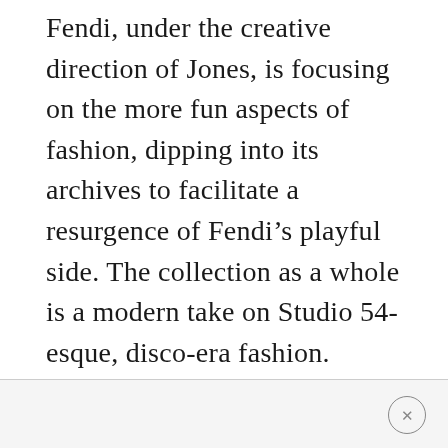Fendi, under the creative direction of Jones, is focusing on the more fun aspects of fashion, dipping into its archives to facilitate a resurgence of Fendi’s playful side. The collection as a whole is a modern take on Studio 54-esque, disco-era fashion.